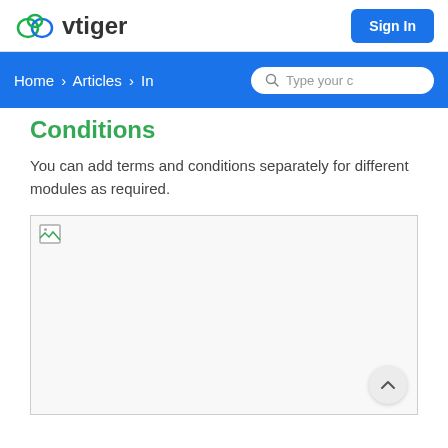[Figure (logo): vtiger logo with cloud icon and text 'vtiger']
[Figure (screenshot): Sign In button (blue rounded rectangle)]
Home > Articles > In
Conditions
You can add terms and conditions separately for different modules as required.
[Figure (screenshot): Broken image placeholder for a screenshot of terms and conditions module]